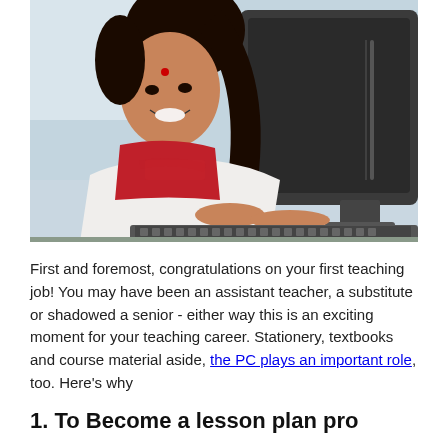[Figure (photo): A woman in a white sari and red blouse smiling and looking at a computer monitor, sitting at a desk with a keyboard.]
First and foremost, congratulations on your first teaching job! You may have been an assistant teacher, a substitute or shadowed a senior - either way this is an exciting moment for your teaching career. Stationery, textbooks and course material aside, the PC plays an important role, too. Here's why
1. To Become a lesson plan pro